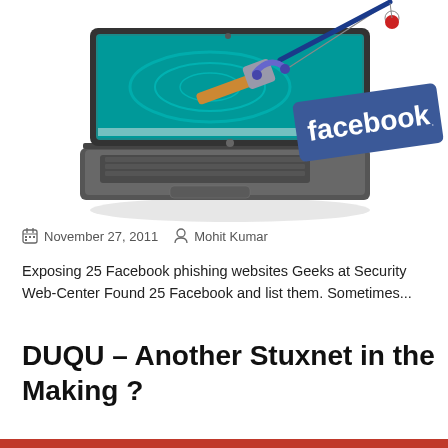[Figure (illustration): Illustration of a laptop with a fishing rod hooked to a Facebook sign, depicting phishing concept]
November 27, 2011   Mohit Kumar
Exposing 25 Facebook phishing websites Geeks at Security Web-Center Found 25 Facebook and list them. Sometimes...
DUQU – Another Stuxnet in the Making ?